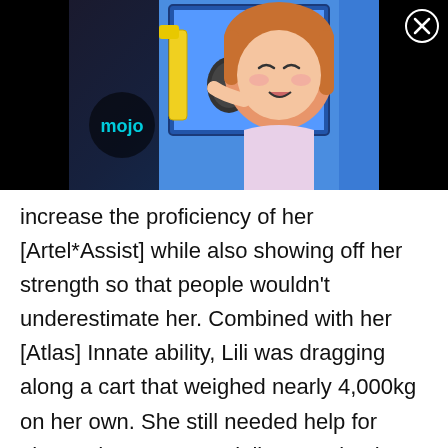[Figure (screenshot): Anime girl singing into a microphone, with a yellow microphone stand visible. A 'mojo' logo watermark appears in the lower left of the image. The image has a dark/black background on left and right sides. A close (X) button is visible in the top right corner.]
increase the proficiency of her [Artel*Assist] while also showing off her strength so that people wouldn't underestimate her. Combined with her [Atlas] Innate ability, Lili was dragging along a cart that weighed nearly 4,000kg on her own. She still needed help for elevated areas, especially on stairs, but was otherwise able to move forward without slowing down the pace of the convoy at all. For many people, this was a somewhat 'scary' sight, because Lili's diminutive